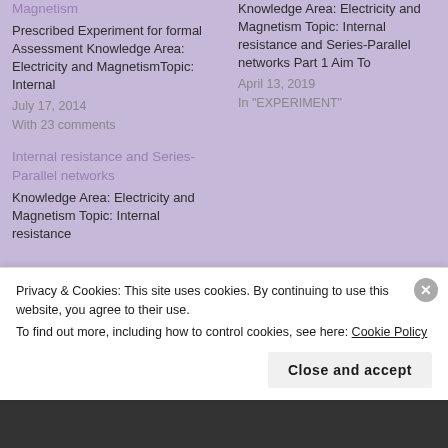Magnetism
Prescribed Experiment for formal Assessment Knowledge Area: Electricity and MagnetismTopic: Internal
July 17, 2014
With 23 comments
Internal resistance and Series-Parallel networks
Knowledge Area: Electricity and Magnetism Topic: Internal resistance
Knowledge Area: Electricity and Magnetism Topic: Internal resistance and Series-Parallel networks Part 1 Aim To
April 13, 2019
In "EXPERIMENT"
Privacy & Cookies: This site uses cookies. By continuing to use this website, you agree to their use.
To find out more, including how to control cookies, see here: Cookie Policy
Close and accept